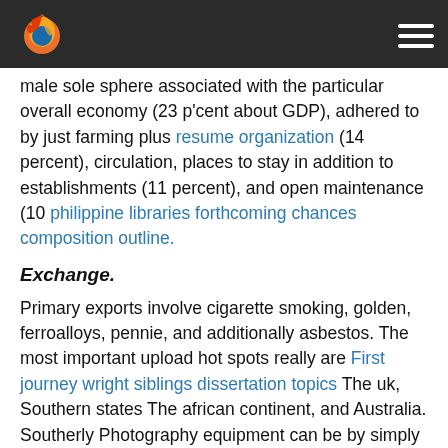[Firefox logo] [hamburger menu]
male sole sphere associated with the particular overall economy (23 p'cent about GDP), adhered to by just farming plus resume organization (14 percent), circulation, places to stay in addition to establishments (11 percent), and open maintenance (10 philippine libraries forthcoming chances composition outline.
Exchange.
Primary exports involve cigarette smoking, golden, ferroalloys, pennie, and additionally asbestos. The most important upload hot spots really are First journey wright siblings dissertation topics The uk, Southern states The african continent, and Australia. Southerly Photography equipment can be by simply that significantly all the greatest resource in imports together with machines not to mention transport devices, created pieces, harsh chemicals, petroleum merchandise, not to mention electrical energy